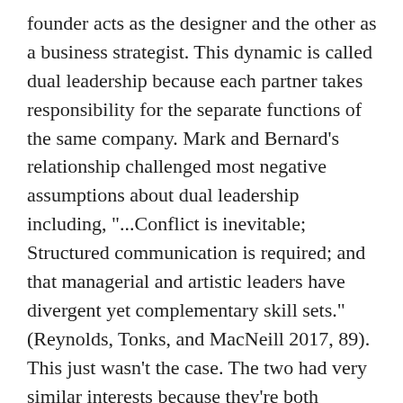founder acts as the designer and the other as a business strategist. This dynamic is called dual leadership because each partner takes responsibility for the separate functions of the same company. Mark and Bernard's relationship challenged most negative assumptions about dual leadership including, "...Conflict is inevitable; Structured communication is required; and that managerial and artistic leaders have divergent yet complementary skill sets." (Reynolds, Tonks, and MacNeill 2017, 89). This just wasn't the case. The two had very similar interests because they're both designers at heart – one just happened to be more business savvy. Their strengths compliment each other in a way that allowed their company to grow.